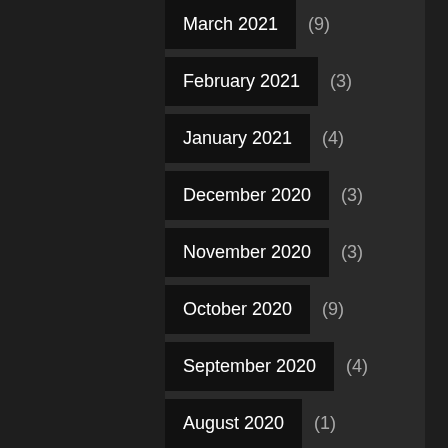March 2021 (9)
February 2021 (3)
January 2021 (4)
December 2020 (3)
November 2020 (3)
October 2020 (9)
September 2020 (4)
August 2020 (1)
July 2020 (2)
June 2020 (4)